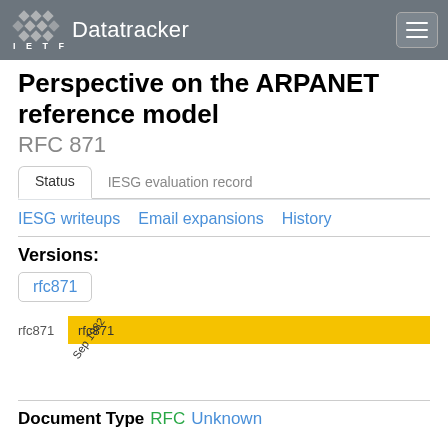IETF Datatracker
Perspective on the ARPANET reference model
RFC 871
Status	IESG evaluation record
IESG writeups	Email expansions	History
Versions:
rfc871
[Figure (bar-chart): rfc871 timeline]
Document Type	RFC	Unknown